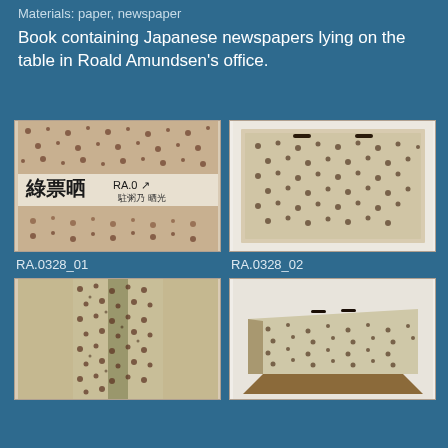Materials: paper, newspaper
Book containing Japanese newspapers lying on the table in Roald Amundsen's office.
[Figure (photo): Close-up of a book cover with Japanese newspaper text and floral pattern, showing kanji characters.]
RA.0328_01
[Figure (photo): Flat view of a book with beige and dark brown floral/dotted pattern cover, white border visible.]
RA.0328_02
[Figure (photo): Vertical close-up of a book spine and cover with floral pattern, dark olive and brown tones.]
[Figure (photo): Three-quarter view of a closed book with beige and dark spotted floral cover pattern, showing slight perspective.]